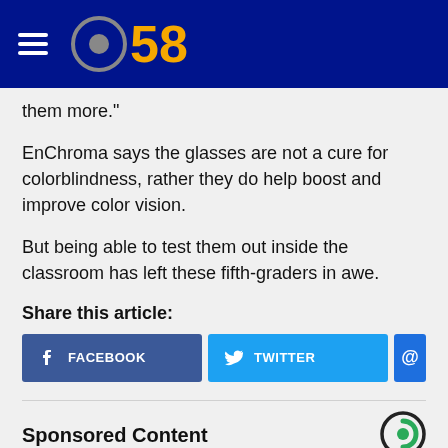CBS 58
them more."
EnChroma says the glasses are not a cure for colorblindness, rather they do help boost and improve color vision.
But being able to test them out inside the classroom has left these fifth-graders in awe.
Share this article:
[Figure (other): Social share buttons: Facebook, Twitter, Email]
Sponsored Content
[Figure (photo): Thumbnail image of sponsored content]
Doctors Stunned: